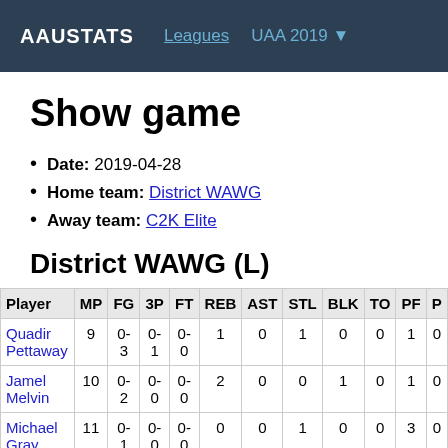AAUSTATS  Leagues  UAA 2019 ▼
Show game
Date: 2019-04-28
Home team: District WAWG
Away team: C2K Elite
District WAWG (L)
| Player | MP | FG | 3P | FT | REB | AST | STL | BLK | TO | PF | P |
| --- | --- | --- | --- | --- | --- | --- | --- | --- | --- | --- | --- |
| Quadir Pettaway | 9 | 0-3 | 0-1 | 0-0 | 1 | 0 | 1 | 0 | 0 | 1 | 0 |
| Jamel Melvin | 10 | 0-2 | 0-0 | 0-0 | 2 | 0 | 0 | 1 | 0 | 1 | 0 |
| Michael Gray | 11 | 0-1 | 0-0 | 0-0 | 0 | 0 | 1 | 0 | 0 | 3 | 0 |